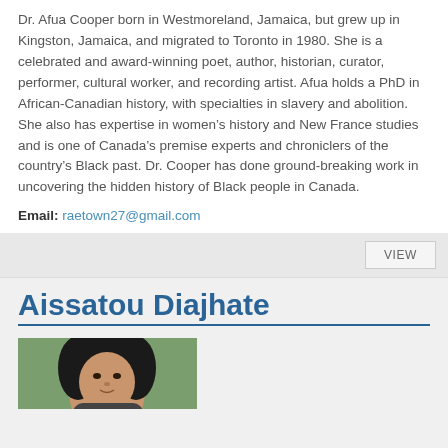Dr. Afua Cooper born in Westmoreland, Jamaica, but grew up in Kingston, Jamaica, and migrated to Toronto in 1980.  She is a celebrated and award-winning poet, author, historian, curator, performer, cultural worker, and recording artist. Afua holds a PhD in African-Canadian history, with specialties in slavery and abolition. She also has expertise in women's history and New France studies and is one of Canada's premise experts and chroniclers of the country's Black past.  Dr. Cooper has done ground-breaking work in uncovering the hidden history of Black people in Canada.
Email: raetown27@gmail.com
Aissatou Diajhate
[Figure (photo): Portrait photo of Aissatou Diajhate, partially visible, showing head and upper shoulders with dark hair]